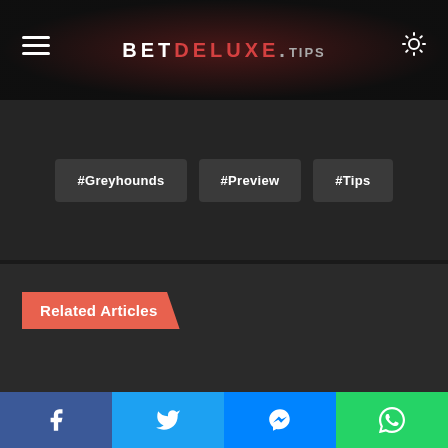BETDELUXE.TIPS
#Greyhounds
#Preview
#Tips
Related Articles
Facebook | Twitter | Messenger | WhatsApp